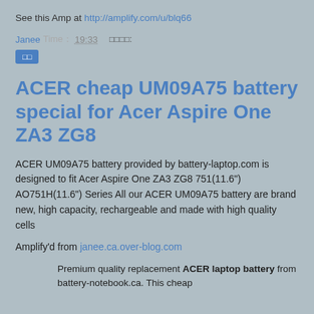See this Amp at http://amplify.com/u/blq66
Janee Time: 19:33 oooo:
oo
ACER cheap UM09A75 battery special for Acer Aspire One ZA3 ZG8
ACER UM09A75 battery provided by battery-laptop.com is designed to fit Acer Aspire One ZA3 ZG8 751(11.6") AO751H(11.6") Series All our ACER UM09A75 battery are brand new, high capacity, rechargeable and made with high quality cells
Amplify'd from janee.ca.over-blog.com
Premium quality replacement ACER laptop battery from battery-notebook.ca. This cheap